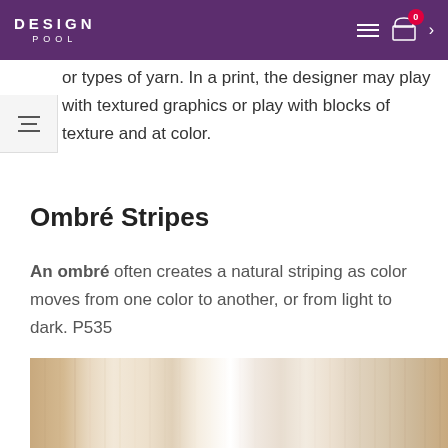DESIGN POOL
or types of yarn. In a print, the designer may play with textured graphics or play with blocks of texture and at color.
Ombré Stripes
An ombré often creates a natural striping as color moves from one color to another, or from light to dark. P535
[Figure (photo): Ombré stripe fabric swatch showing vertical stripes transitioning from warm tan/beige on the left through white/cream in the center to light warm tones on the right.]